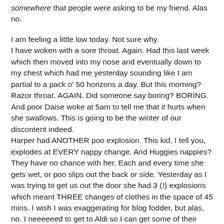somewhere that people were asking to be my friend. Alas no.
I am feeling a little low today. Not sure why. I have woken with a sore throat. Again. Had this last week which then moved into my nose and eventually down to my chest which had me yesterday sounding like I am partial to a pack o' 50 horizons a day. But this morning? Razor throat. AGAIN. Did someone say boring? BORING. And poor Daise woke at 5am to tell me that it hurts when she swallows. This is going to be the winter of our discontent indeed. Harper had ANOTHER poo explosion. This kid, I tell you, explodes at EVERY nappy change. And Huggies nappies? They have no chance with her. Each and every time she gets wet, or poo slips out the back or side. Yesterday as I was trying to get us out the door she had 3 (!) explosions which meant THREE changes of clothes in the space of 45 mins. I wish I was exaggerating for blog fodder, but alas, no. I neeeeeed to get to Aldi so I can get some of their nappies. They are in another league to others I think.
We have NO food in the house. We had NO food in the house